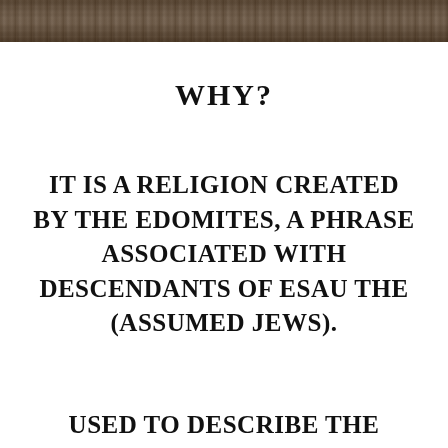[Figure (photo): Cropped photo of wooden planks or logs with dark brown wood texture, visible at the top strip of the page]
WHY?
IT IS A RELIGION CREATED BY THE EDOMITES, A PHRASE ASSOCIATED WITH DESCENDANTS OF ESAU THE (ASSUMED JEWS).
USED TO DESCRIBE THE